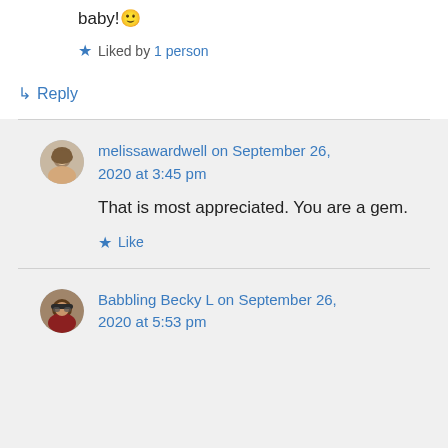baby! 🙂
★ Liked by 1 person
↳ Reply
melissawardwell on September 26, 2020 at 3:45 pm
That is most appreciated. You are a gem.
★ Like
Babbling Becky L on September 26, 2020 at 5:53 pm